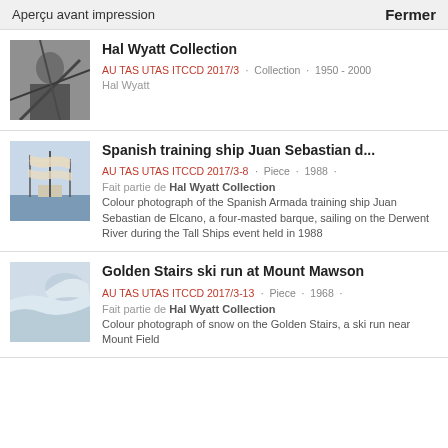Aperçu avant impression  Fermer
Hal Wyatt Collection
AU TAS UTAS ITCCD 2017/3 · Collection · 1950 - 2000
Hal Wyatt
[Figure (photo): Black and white photograph of a person in rocky terrain]
Spanish training ship Juan Sebastian d...
AU TAS UTAS ITCCD 2017/3-8 · Piece · 1988 · 
Fait partie de Hal Wyatt Collection
Colour photograph of the Spanish Armada training ship Juan Sebastian de Elcano, a four-masted barque, sailing on the Derwent River during the Tall Ships event held in 1988
[Figure (photo): Photograph of a tall sailing ship with multiple masts]
Golden Stairs ski run at Mount Mawson
AU TAS UTAS ITCCD 2017/3-13 · Piece · 1968 · 
Fait partie de Hal Wyatt Collection
Colour photograph of snow on the Golden Stairs, a ski run near Mount Field
[Figure (photo): Photograph of snowy mountain ski run]